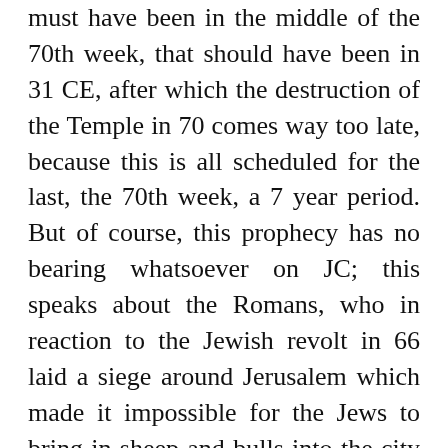must have been in the middle of the 70th week, that should have been in 31 CE, after which the destruction of the Temple in 70 comes way too late, because this is all scheduled for the last, the 70th week, a 7 year period. But of course, this prophecy has no bearing whatsoever on JC; this speaks about the Romans, who in reaction to the Jewish revolt in 66 laid a siege around Jerusalem which made it impossible for the Jews to bring in sheep and bulls into the city for the sacrificial service. The siege made it impossible to bring in sheep and bulls into the city, so that caused an interruption of the animal sacrifices.
“And after threescore and two weeks shall Messiah be cut off,” King James